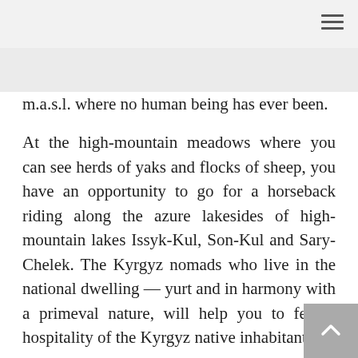m.a.s.l. where no human being has ever been.
At the high-mountain meadows where you can see herds of yaks and flocks of sheep, you have an opportunity to go for a horseback riding along the azure lakesides of high-mountain lakes Issyk-Kul, Son-Kul and Sary-Chelek. The Kyrgyz nomads who live in the national dwelling — yurt and in harmony with a primeval nature, will help you to feel a hospitality of the Kyrgyz native inhabitants.
You will find the...